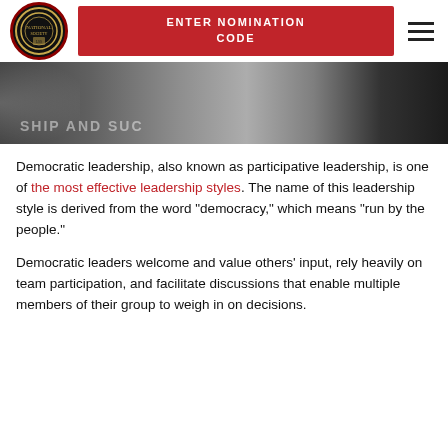[Figure (logo): Circular organization seal/logo with dark background and gold border, positioned in header]
ENTER NOMINATION CODE
[Figure (photo): Dark hero banner photo showing people in a group setting, partially visible, with overlay text about leadership and success]
Democratic leadership, also known as participative leadership, is one of the most effective leadership styles. The name of this leadership style is derived from the word "democracy," which means "run by the people."
Democratic leaders welcome and value others' input, rely heavily on team participation, and facilitate discussions that enable multiple members of their group to weigh in on decisions.